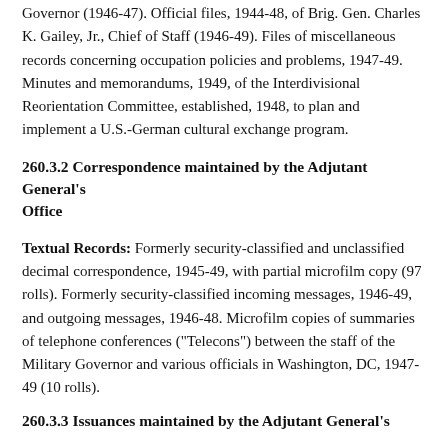Governor (1946-47). Official files, 1944-48, of Brig. Gen. Charles K. Gailey, Jr., Chief of Staff (1946-49). Files of miscellaneous records concerning occupation policies and problems, 1947-49. Minutes and memorandums, 1949, of the Interdivisional Reorientation Committee, established, 1948, to plan and implement a U.S.-German cultural exchange program.
260.3.2 Correspondence maintained by the Adjutant General's Office
Textual Records: Formerly security-classified and unclassified decimal correspondence, 1945-49, with partial microfilm copy (97 rolls). Formerly security-classified incoming messages, 1946-49, and outgoing messages, 1946-48. Microfilm copies of summaries of telephone conferences ("Telecons") between the staff of the Military Governor and various officials in Washington, DC, 1947- 49 (10 rolls).
260.3.3 Issuances maintained by the Adjutant General's